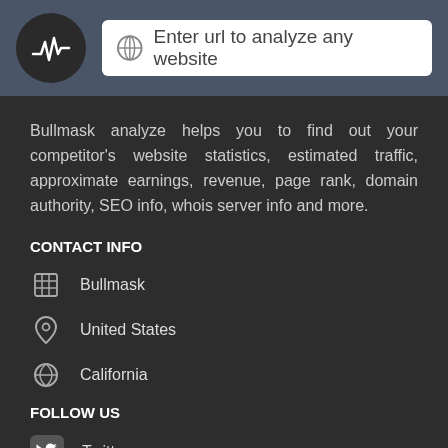Enter url to analyze any website
Bullmask analyze helps you to find out your competitor's website statistics, estimated traffic, approximate earnings, revenue, page rank, domain authority, SEO info, whois server info and more.
CONTACT INFO
Bullmask
United States
California
FOLLOW US
Twitter